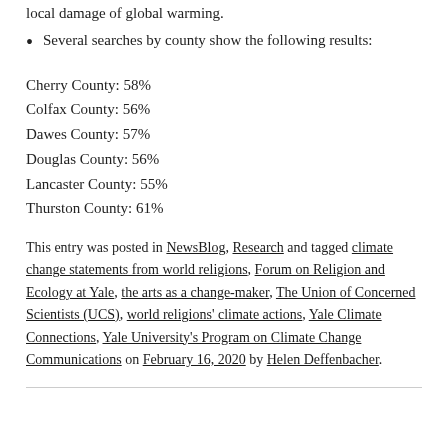local damage of global warming.
Several searches by county show the following results:
Cherry County: 58%
Colfax County: 56%
Dawes County: 57%
Douglas County: 56%
Lancaster County: 55%
Thurston County: 61%
This entry was posted in NewsBlog, Research and tagged climate change statements from world religions, Forum on Religion and Ecology at Yale, the arts as a change-maker, The Union of Concerned Scientists (UCS), world religions' climate actions, Yale Climate Connections, Yale University's Program on Climate Change Communications on February 16, 2020 by Helen Deffenbacher.